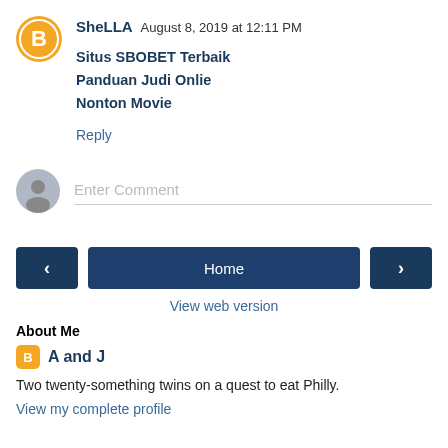SheLLA  August 8, 2019 at 12:11 PM
Situs SBOBET Terbaik
Panduan Judi Onlie
Nonton Movie
Reply
[Figure (illustration): Orange circle blogger avatar icon with white B letter]
[Figure (illustration): Gray circle anonymous user avatar icon]
Enter Comment
[Figure (illustration): Navigation buttons: left arrow, Home, right arrow]
View web version
About Me
A and J
Two twenty-something twins on a quest to eat Philly.
View my complete profile